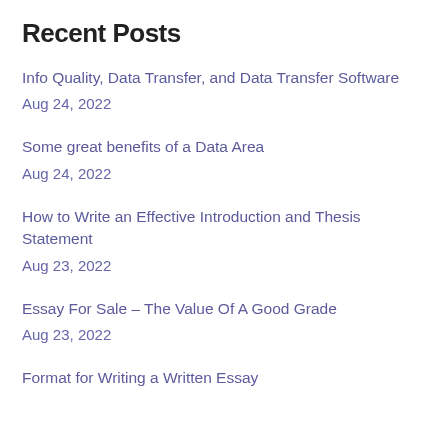Recent Posts
Info Quality, Data Transfer, and Data Transfer Software
Aug 24, 2022
Some great benefits of a Data Area
Aug 24, 2022
How to Write an Effective Introduction and Thesis Statement
Aug 23, 2022
Essay For Sale – The Value Of A Good Grade
Aug 23, 2022
Format for Writing a Written Essay